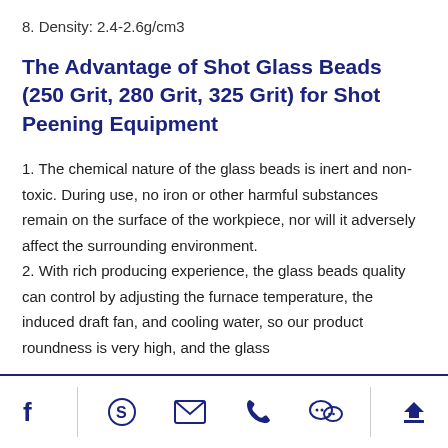8. Density: 2.4-2.6g/cm3
The Advantage of Shot Glass Beads (250 Grit, 280 Grit, 325 Grit) for Shot Peening Equipment
1. The chemical nature of the glass beads is inert and non-toxic. During use, no iron or other harmful substances remain on the surface of the workpiece, nor will it adversely affect the surrounding environment. 2. With rich producing experience, the glass beads quality can control by adjusting the furnace temperature, the induced draft fan, and cooling water, so our product roundness is very high, and the glass
Social icons footer bar: Facebook, Skype, Email, Phone, WeChat, Top